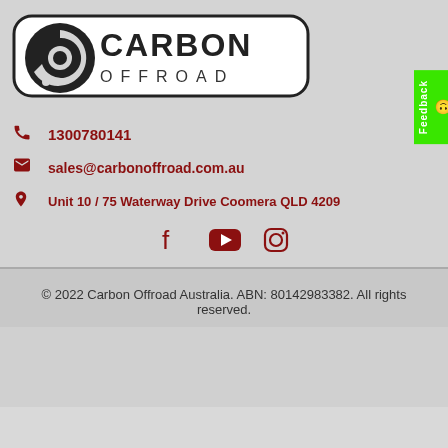[Figure (logo): Carbon Offroad logo with stylized arrow/gear icon and bold CARBON OFFROAD text]
1300780141
sales@carbonoffroad.com.au
Unit 10 / 75 Waterway Drive Coomera QLD 4209
[Figure (illustration): Social media icons: Facebook, YouTube, Instagram]
© 2022 Carbon Offroad Australia. ABN: 80142983382. All rights reserved.